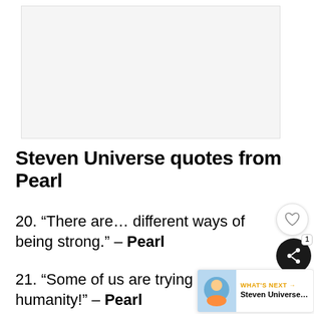[Figure (photo): Blank/light gray image placeholder at top of page]
Steven Universe quotes from Pearl
20. “There are… different ways of being strong.” – Pearl
21. “Some of us are trying to protect humanity!” – Pearl